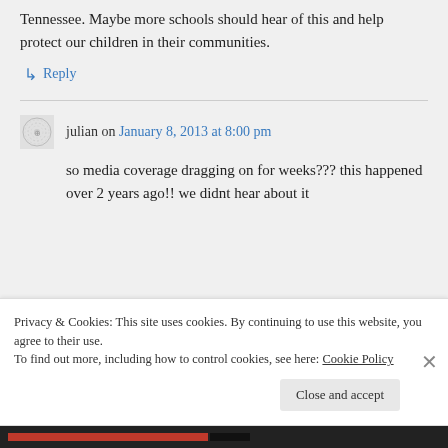Tennessee. Maybe more schools should hear of this and help protect our children in their communities.
↳ Reply
julian on January 8, 2013 at 8:00 pm
so media coverage dragging on for weeks??? this happened over 2 years ago!! we didnt hear about it
Privacy & Cookies: This site uses cookies. By continuing to use this website, you agree to their use.
To find out more, including how to control cookies, see here: Cookie Policy
Close and accept